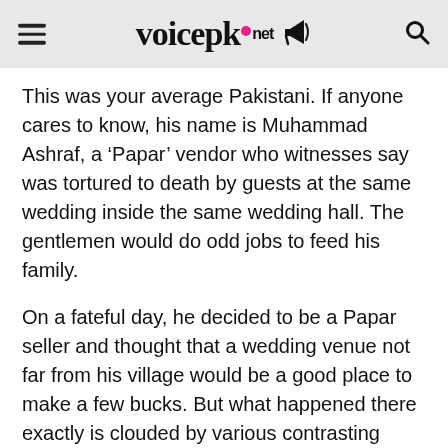voicepk.net
This was your average Pakistani. If anyone cares to know, his name is Muhammad Ashraf, a ‘Papar’ vendor who witnesses say was tortured to death by guests at the same wedding inside the same wedding hall. The gentlemen would do odd jobs to feed his family.
On a fateful day, he decided to be a Papar seller and thought that a wedding venue not far from his village would be a good place to make a few bucks. But what happened there exactly is clouded by various contrasting